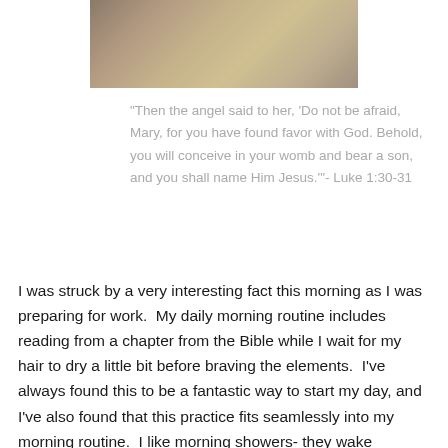[Figure (photo): Partial photograph showing a religious painting or scene with a checkered floor pattern, partial view of robes and figures, cropped at top.]
“Then the angel said to her, ‘Do not be afraid, Mary, for you have found favor with God. Behold, you will conceive in your womb and bear a son, and you shall name Him Jesus.’”- Luke 1:30-31
I was struck by a very interesting fact this morning as I was preparing for work.  My daily morning routine includes reading from a chapter from the Bible while I wait for my hair to dry a little bit before braving the elements.  I’ve always found this to be a fantastic way to start my day, and I’ve also found that this practice fits seamlessly into my morning routine.  I like morning showers- they wake